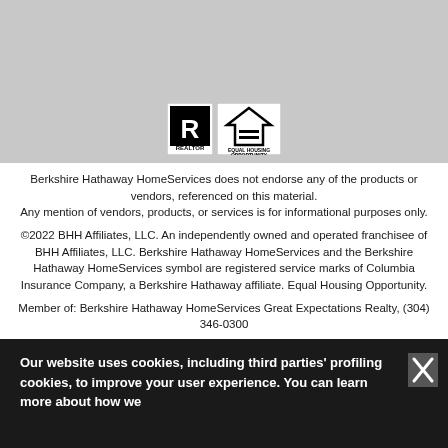[Figure (logo): Realtor logo and Equal Housing Opportunity logo side by side]
Berkshire Hathaway HomeServices does not endorse any of the products or vendors, referenced on this material.
Any mention of vendors, products, or services is for informational purposes only.
©2022 BHH Affiliates, LLC. An independently owned and operated franchisee of BHH Affiliates, LLC. Berkshire Hathaway HomeServices and the Berkshire Hathaway HomeServices symbol are registered service marks of Columbia Insurance Company, a Berkshire Hathaway affiliate. Equal Housing Opportunity.
Member of: Berkshire Hathaway HomeServices Great Expectations Realty, (304) 346-0300
Our website uses cookies, including third parties' profiling cookies, to improve your user experience. You can learn more about how we